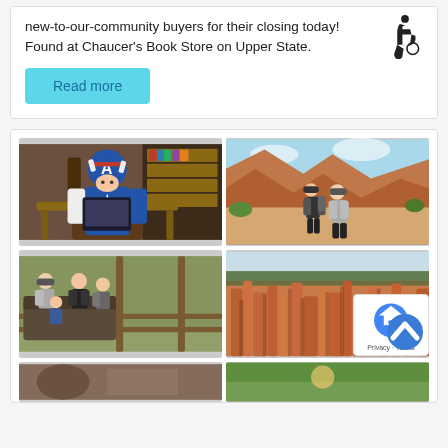new-to-our-community buyers for their closing today! Found at Chaucer's Book Store on Upper State.
Read more
[Figure (photo): Child dressed in Captain America costume sitting at a desk with a tablet]
[Figure (photo): Two people standing on a hiking trail with red canyon landscape behind them]
[Figure (photo): Family group of four sitting on an outdoor porch/deck]
[Figure (photo): Aerial view of Bryce Canyon hoodoos and canyon landscape]
[Figure (photo): Partially visible bottom row photo 1]
[Figure (photo): Partially visible bottom row photo 2]